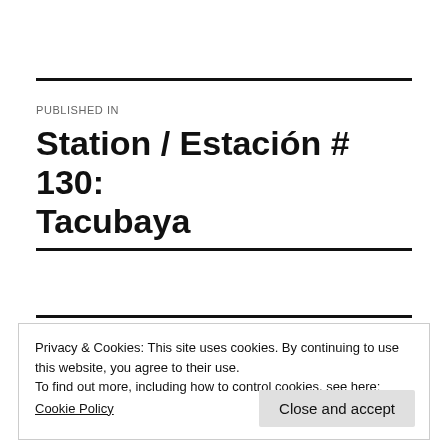PUBLISHED IN
Station / Estación # 130: Tacubaya
Privacy & Cookies: This site uses cookies. By continuing to use this website, you agree to their use.
To find out more, including how to control cookies, see here:
Cookie Policy
Close and accept
MCM PROJECT ON TV